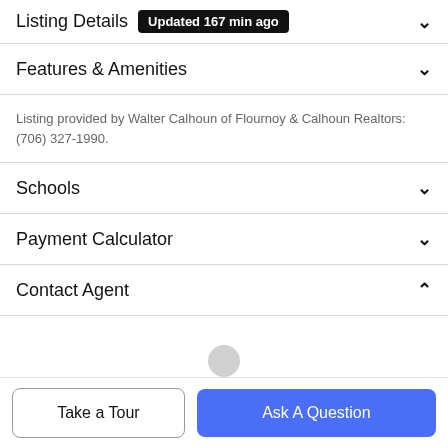Listing Details Updated 167 min ago
Features & Amenities
Listing provided by Walter Calhoun of Flournoy & Calhoun Realtors: (706) 327-1990.
Schools
Payment Calculator
Contact Agent
[Figure (illustration): Agent avatar placeholder icon — gray silhouette of a person on white background]
Take a Tour
Ask A Question